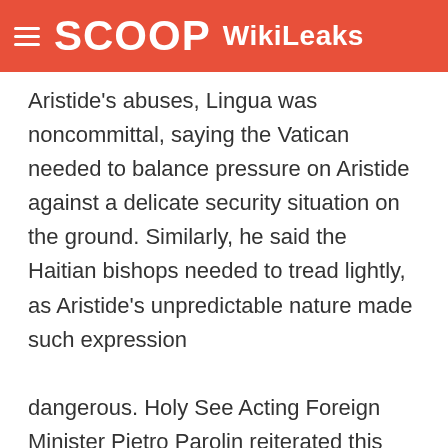SCOOP WikiLeaks
Aristide's abuses, Lingua was noncommittal, saying the Vatican needed to balance pressure on Aristide against a delicate security situation on the ground. Similarly, he said the Haitian bishops needed to tread lightly, as Aristide's unpredictable nature made such expression dangerous. Holy See Acting Foreign Minister Pietro Parolin reiterated this point in a November 13 meeting with the Charge, while also noting that the bishops had signed